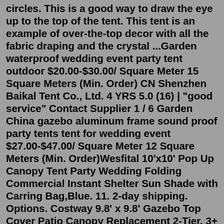circles. This is a good way to draw the eye up to the top of the tent. This tent is an example of over-the-top decor with all the fabric draping and the crystal ...Garden waterproof wedding event party tent outdoor $20.00-$30.00/ Square Meter 15 Square Meters (Min. Order) CN Shenzhen Baikal Tent Co., Ltd. 4 YRS 5.0 (16) | "good service" Contact Supplier 1 / 6 Garden China gazebo aluminum frame sound proof party tents tent for wedding event $27.00-$47.00/ Square Meter 12 Square Meters (Min. Order)Wesfital 10'x10' Pop Up Canopy Tent Party Wedding Folding Commercial Instant Shelter Sun Shade with Carring Bag,Blue. 11. 2-day shipping. Options. Costway 9.8' x 9.8' Gazebo Top Cover Patio Canopy Replacement 2-Tier. 3+ day shipping. Gazebo Insects Netting Fits For 10 ft. x 10 ft. Gazebo ( Gazebo and Canopy Top Not Included ) The proper garden party was always held entirely in the open air. It was usual to have a tent pitched where the refreshments were served — consisting of tea and